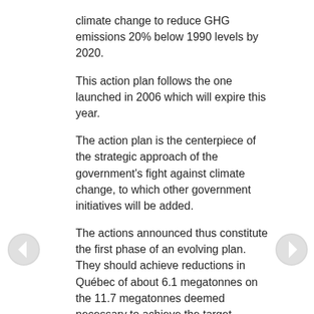climate change to reduce GHG emissions 20% below 1990 levels by 2020.
This action plan follows the one launched in 2006 which will expire this year.
The action plan is the centerpiece of the strategic approach of the government's fight against climate change, to which other government initiatives will be added.
The actions announced thus constitute the first phase of an evolving plan. They should achieve reductions in Québec of about 6.1 megatonnes on the 11.7 megatonnes deemed necessary to achieve the target reduction of GHG emissions by 2020. As was announced in the last budget, the second phase of the action plan will be launched mid-term in light of the revenue that will generate carbon market and new guidelines adopted in terms of sustainable mobility, spatial territory and power.
The action plan will also change according to the